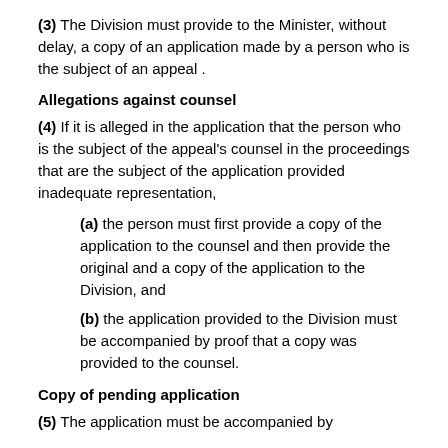(3) The Division must provide to the Minister, without delay, a copy of an application made by a person who is the subject of an appeal .
Allegations against counsel
(4) If it is alleged in the application that the person who is the subject of the appeal’s counsel in the proceedings that are the subject of the application provided inadequate representation,
(a) the person must first provide a copy of the application to the counsel and then provide the original and a copy of the application to the Division, and
(b) the application provided to the Division must be accompanied by proof that a copy was provided to the counsel.
Copy of pending application
(5) The application must be accompanied by...